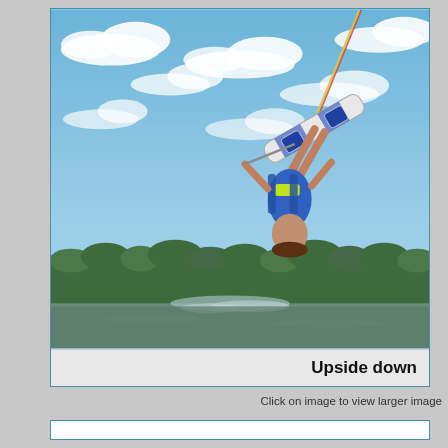[Figure (photo): A wakeboarder performing an upside-down aerial trick, suspended in the air holding a tow rope. The rider is inverted with a wakeboard attached to their feet, wearing a blue life vest and shorts. Blue sky with white clouds in the background, green treeline and water spray at the bottom.]
Upside down
Click on image to view larger image